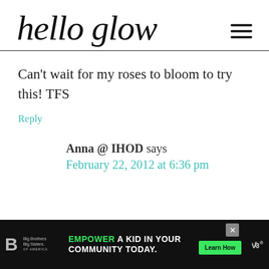hello glow
Can't wait for my roses to bloom to try this! TFS
Reply
Anna @ IHOD says
February 22, 2012 at 6:36 pm
[Figure (infographic): Advertisement banner: Big Brothers Big Sisters logo on dark background, text 'EMPOWER A KID IN YOUR COMMUNITY TODAY.' with Learn How button and close X button]